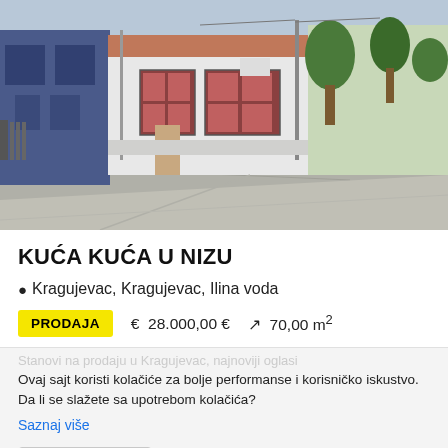[Figure (photo): Street-level photo of a small white commercial/residential building with red-framed windows, flanked by a blue building on the left and trees/road on the right, in Kragujevac, Serbia.]
KUĆA KUĆA U NIZU
Kragujevac, Kragujevac, Ilina voda
PRODAJA   € 28.000,00 €   70,00 m²
Ovaj sajt koristi kolačiće za bolje performanse i korisničko iskustvo. Da li se slažete sa upotrebom kolačića?
Saznaj više
Slažem se
Ne slažem se